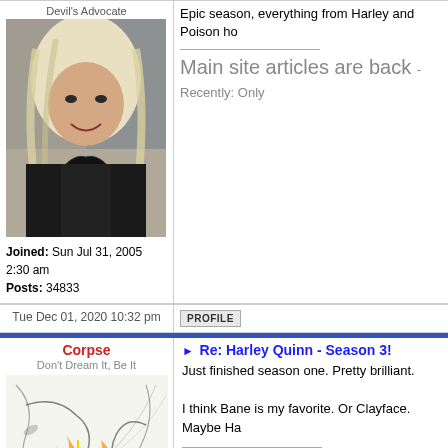Devil's Advocate
[Figure (photo): Profile photo of a blonde woman smiling]
Joined: Sun Jul 31, 2005 2:30 am
Posts: 34833
Epic season, everything from Harley and Poison ho...
Main site articles are back - Recently: Only...
Tue Dec 01, 2020 10:32 pm
PROFILE
Corpse
Don't Dream It, Be It
[Figure (illustration): Comic-style illustration with orange and yellow fire/energy effects]
Re: Harley Quinn - Season 3!
Just finished season one. Pretty brilliant.

I think Bane is my favorite. Or Clayface. Maybe Ha...
Japan Box Office
"Gods are great ... but the heart is greater. For it is from o...
"We were like gods at the dawning of the world, & our joy...
"There are three things all wise men fear: the sea in storm...
"You have to pretend you get an endgame. You have to ca...
"Paper is dead without words / Ink idle without a poem / A...